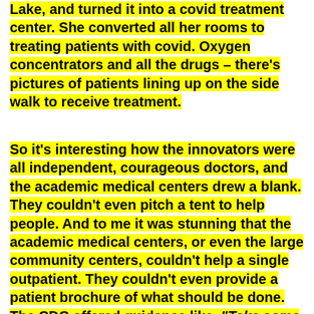Lake, and turned it into a covid treatment center. She converted all her rooms to treating patients with covid. Oxygen concentrators and all the drugs – there's pictures of patients lining up on the side walk to receive treatment.
So it's interesting how the innovators were all independent, courageous doctors, and the academic medical centers drew a blank. They couldn't even pitch a tent to help people. And to me it was stunning that the academic medical centers, or even the large community centers, couldn't help a single outpatient. They couldn't even provide a patient brochure of what should be done. The CDC offered guidance like, "Take some tylenol and if you get really sick go to the